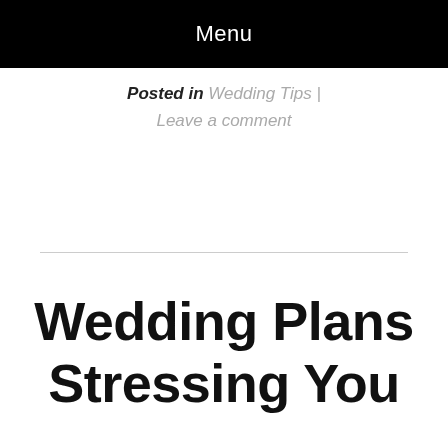Menu
Posted in Wedding Tips | Leave a comment
Wedding Plans Stressing You